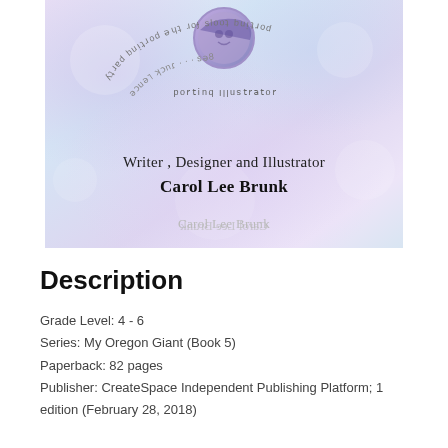[Figure (illustration): Book cover with pastel purple-blue gradient background, a circular character illustration at top center, curved/arced mirrored text around the circle, and centered text reading 'Writer , Designer and Illustrator' and 'Carol Lee Brunk' with a mirrored reflection of the author name below.]
Description
Grade Level: 4 - 6
Series: My Oregon Giant (Book 5)
Paperback: 82 pages
Publisher: CreateSpace Independent Publishing Platform; 1 edition (February 28, 2018)